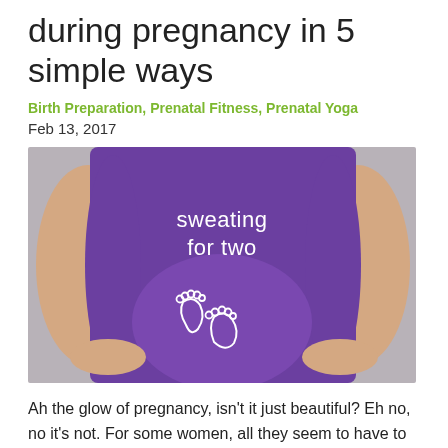during pregnancy in 5 simple ways
Birth Preparation, Prenatal Fitness, Prenatal Yoga
Feb 13, 2017
[Figure (photo): Pregnant woman wearing a purple maternity tank top that reads 'sweating for two' with baby footprints illustration, hands on hips, photographed from neck to waist against a grey background.]
Ah the glow of pregnancy, isn't it just beautiful? Eh no, no it's not. For some women, all they seem to have to